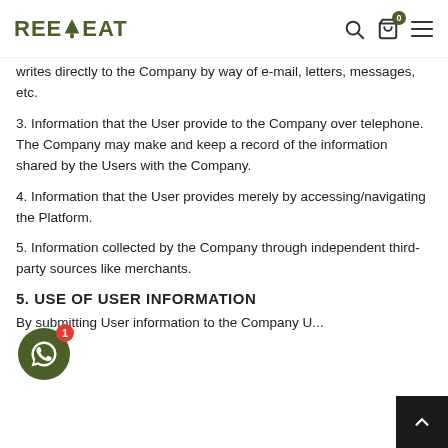REEPEAT
writes directly to the Company by way of e-mail, letters, messages, etc.
3. Information that the User provide to the Company over telephone. The Company may make and keep a record of the information shared by the Users with the Company.
4. Information that the User provides merely by accessing/navigating the Platform.
5. Information collected by the Company through independent third-party sources like merchants.
5. USE OF USER INFORMATION
By submitting User information to the Company U...